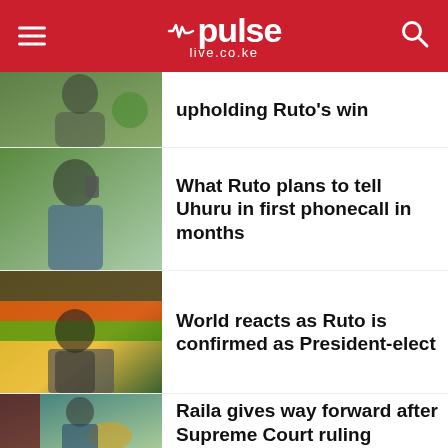pulse live.co.ke
upholding Ruto's win
What Ruto plans to tell Uhuru in first phonecall in months
World reacts as Ruto is confirmed as President-elect
Raila gives way forward after Supreme Court ruling